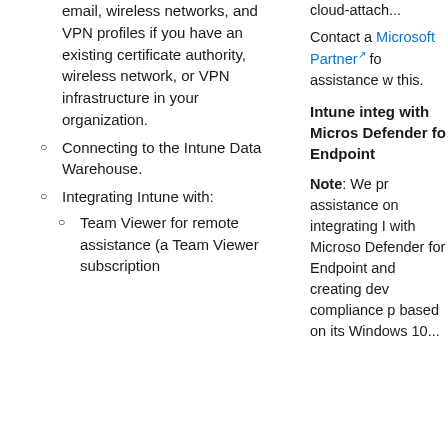email, wireless networks, and VPN profiles if you have an existing certificate authority, wireless network, or VPN infrastructure in your organization.
Connecting to the Intune Data Warehouse.
Integrating Intune with:
Team Viewer for remote assistance (a Team Viewer subscription...
cloud-attach... Contact a Microsoft Partner for assistance with this.
Intune integrates with Microsoft Defender for Endpoint
Note: We provide assistance on integrating Intune with Microsoft Defender for Endpoint and creating device compliance policies based on its Windows 10...